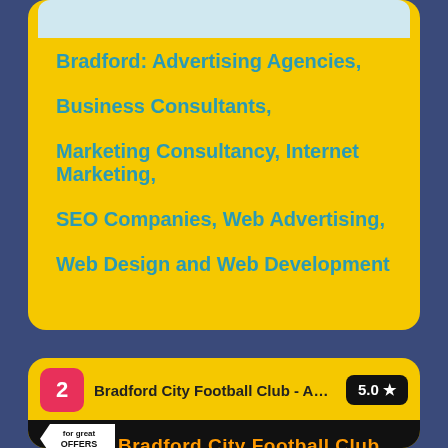Bradford: Advertising Agencies,
Business Consultants,
Marketing Consultancy, Internet Marketing,
SEO Companies, Web Advertising,
Web Design and Web Development
2  Bradford City Football Club - Adver...  5.0★
[Figure (screenshot): Bradford City Football Club Commercial Department banner image with 'for great OFFERS' tag, orange title text, and bottom section showing 'CALLING ALL FANS, COMPANIES & CORPORATE GIANTS!' on purple background alongside a mitre ball and player photo]